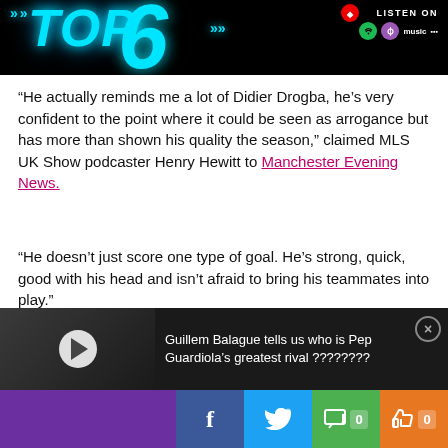[Figure (screenshot): Podcast banner for 'The Top 6' show with neon blue text on black background, showing 'LISTEN ON' with Spotify, podcast and Amazon Music icons]
“He actually reminds me a lot of Didier Drogba, he’s very confident to the point where it could be seen as arrogance but has more than shown his quality the season,” claimed MLS UK Show podcaster Henry Hewitt to Manchester Evening News.
“He doesn’t just score one type of goal. He’s strong, quick, good with his head and isn’t afraid to bring his teammates into play.”
[Figure (screenshot): Video thumbnail bar with dark background showing play button and text 'Guillem Balague tells us who is Pep Guardiola’s greatest rival ????????']
[Figure (screenshot): Social media sharing bar with purple, Facebook (f), Twitter bird, comment icon with count 0, and like icon with count 0 buttons]